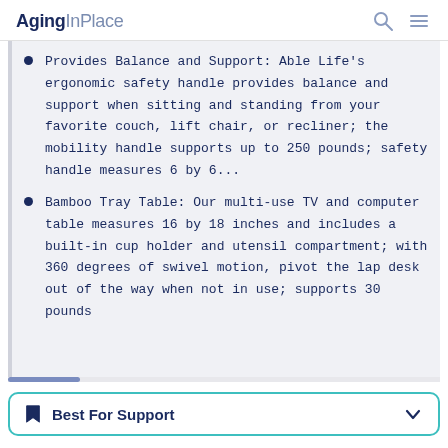AgingInPlace
Provides Balance and Support: Able Life's ergonomic safety handle provides balance and support when sitting and standing from your favorite couch, lift chair, or recliner; the mobility handle supports up to 250 pounds; safety handle measures 6 by 6...
Bamboo Tray Table: Our multi-use TV and computer table measures 16 by 18 inches and includes a built-in cup holder and utensil compartment; with 360 degrees of swivel motion, pivot the lap desk out of the way when not in use; supports 30 pounds
Best For Support